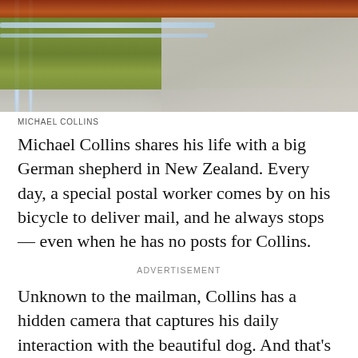[Figure (photo): Outdoor photograph showing a fence or railing structure with green grass and a grey road or path in the background. Red/brown wooden beam visible at top.]
MICHAEL COLLINS
Michael Collins shares his life with a big German shepherd in New Zealand. Every day, a special postal worker comes by on his bicycle to deliver mail, and he always stops — even when he has no posts for Collins.
ADVERTISEMENT
Unknown to the mailman, Collins has a hidden camera that captures his daily interaction with the beautiful dog. And that's doubly appreciated because this German shepherd is often misunderstood. According to his owner, people think that his dog is unapproachable, perhaps even dangerous. So when the postman takes the time to cuddle